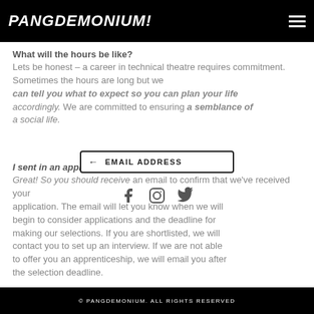PANGDEMONIUM!
What will the hours be like?
Lets be honest – a career in technical theatre requires commitment. Sometimes the hours are long but we can tell you what to expect so you can plan your life accordingly. We are committed to ensuring a semblance of a social life.
I sent in an application, now what?
Great! So you should receive an email to confirm that we've received your application. The email will let you know when we will begin to consider applications and the deadline for making our selections. If you are shortlisted, we will contact you to set up an interview. If we are not able to offer you an apprenticeship, we will email you after the selection deadline.
© PANGDEMONIUM. ALL RIGHTS RESERVED